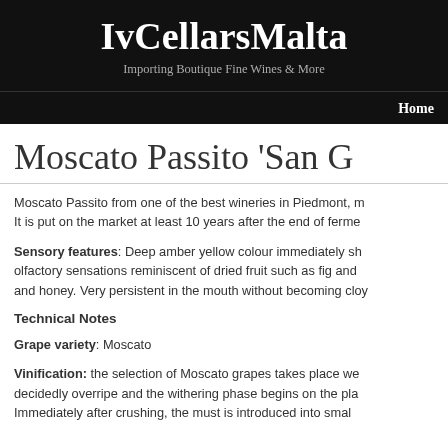IvCellarsMalta
Importing Boutique Fine Wines & More
Home
Moscato Passito 'San G
Moscato Passito from one of the best wineries in Piedmont, m It is put on the market at least 10 years after the end of ferme
Sensory features: Deep amber yellow colour immediately sh olfactory sensations reminiscent of dried fruit such as fig and and honey. Very persistent in the mouth without becoming cloy
Technical Notes
Grape variety: Moscato
Vinification: the selection of Moscato grapes takes place we decidedly overripe and the withering phase begins on the pla Immediately after crushing, the must is introduced into smal